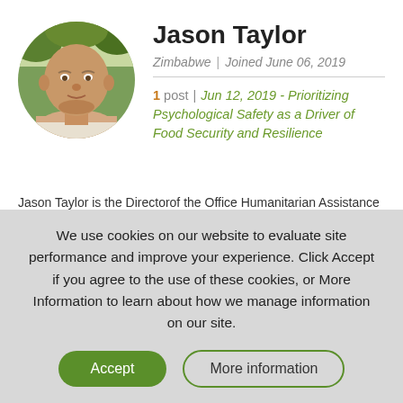[Figure (photo): Circular avatar photo of Jason Taylor, a bald man outdoors with green foliage background]
Jason Taylor
Zimbabwe | Joined June 06, 2019
1 post | Jun 12, 2019 - Prioritizing Psychological Safety as a Driver of Food Security and Resilience
Jason Taylor is the Directorof the Office Humanitarian Assistance and Resilience with
We use cookies on our website to evaluate site performance and improve your experience. Click Accept if you agree to the use of these cookies, or More Information to learn about how we manage information on our site.